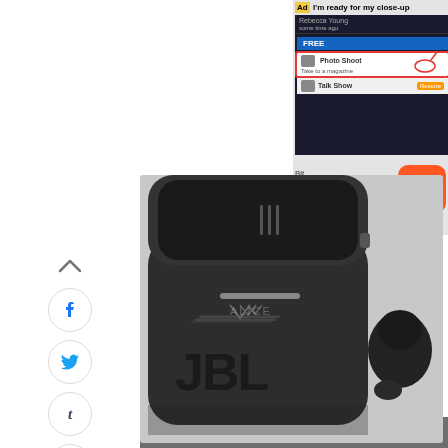[Figure (screenshot): Advertisement banner at top right showing a mobile app screenshot (BitLife) with 'I'm ready for my close-up' text, app store rows including Photo Shoot and Talk Show, and a BitLife app icon with orange background. An 'Install!' link is shown below.]
It has depth, clarity as well as sharpness on the treble
[Figure (illustration): Generic gray user avatar silhouette]
By Manik K
Updated: May 20, 2022 12:23 IST
[Figure (photo): Photo of JBL wireless earbuds in their charging case. The black case is open showing the JBL logo prominently. One earbud is placed outside the case to the right. The case has a 'VIIIII' style stripe design on the front. Background is a light gray surface.]